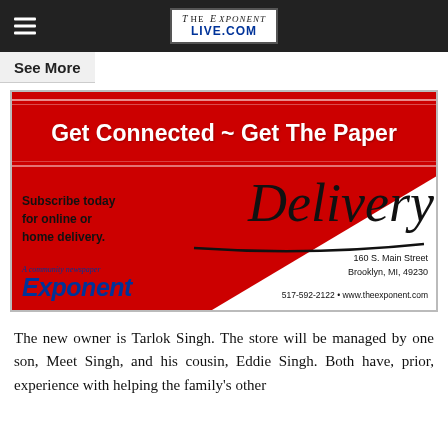TheExponentLive.com
See More
[Figure (infographic): Advertisement for The Exponent newspaper: 'Get Connected ~ Get The Paper' with red banner, Delivery cursive text, subscribe today for online or home delivery, Exponent logo, 160 S. Main Street Brooklyn, MI, 49230, 517-592-2122, www.theexponent.com]
The new owner is Tarlok Singh. The store will be managed by one son, Meet Singh, and his cousin, Eddie Singh. Both have, prior, experience with helping the family's other